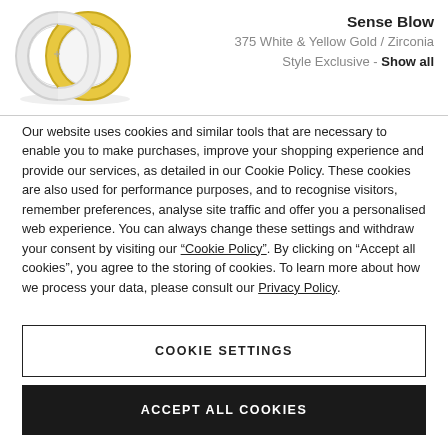[Figure (photo): Two overlapping wedding rings, one white gold and one yellow gold, displayed at an angle]
Sense Blow
375 White & Yellow Gold / Zirconia
Style Exclusive - Show all
Our website uses cookies and similar tools that are necessary to enable you to make purchases, improve your shopping experience and provide our services, as detailed in our Cookie Policy. These cookies are also used for performance purposes, and to recognise visitors, remember preferences, analyse site traffic and offer you a personalised web experience. You can always change these settings and withdraw your consent by visiting our “Cookie Policy”. By clicking on “Accept all cookies”, you agree to the storing of cookies. To learn more about how we process your data, please consult our Privacy Policy.
COOKIE SETTINGS
ACCEPT ALL COOKIES